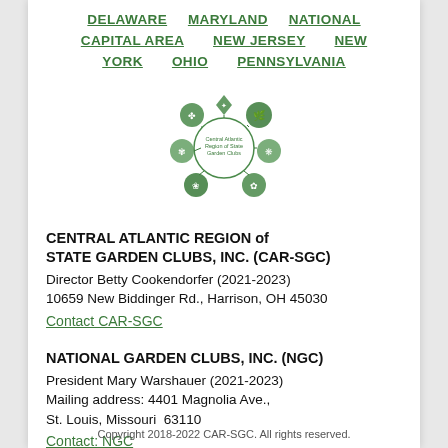DELAWARE   MARYLAND   NATIONAL   CAPITAL AREA   NEW JERSEY   NEW YORK   OHIO   PENNSYLVANIA
[Figure (logo): Central Atlantic Region of State Garden Clubs circular logo with green emblems]
CENTRAL ATLANTIC REGION of STATE GARDEN CLUBS, INC. (CAR-SGC)
Director Betty Cookendorfer (2021-2023)
10659 New Biddinger Rd., Harrison, OH 45030
Contact CAR-SGC
NATIONAL GARDEN CLUBS, INC. (NGC)
President Mary Warshauer (2021-2023)
Mailing address: 4401 Magnolia Ave.,
St. Louis, Missouri  63110
Contact: NGC
Copyright 2018-2022 CAR-SGC. All rights reserved.